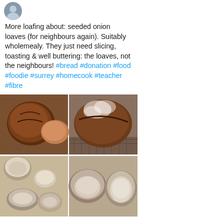[Figure (photo): Partial avatar/profile photo at top of social media post]
More loafing about: seeded onion loaves (for neighbours again). Suitably wholemealy. They just need slicing, toasting & well buttering: the loaves, not the neighbours! #bread #donation #food #foodie #surrey #homecook #teacher #fibre
[Figure (photo): 2x2 grid of bread photos: top-left shows dark seeded round sourdough loaves on cooling rack; top-right shows flour-dusted round sourdough loaf on cooling rack; bottom-left shows bread dough in small bowls/ramekins; bottom-right shows bread dough rounds in larger ceramic bowls]